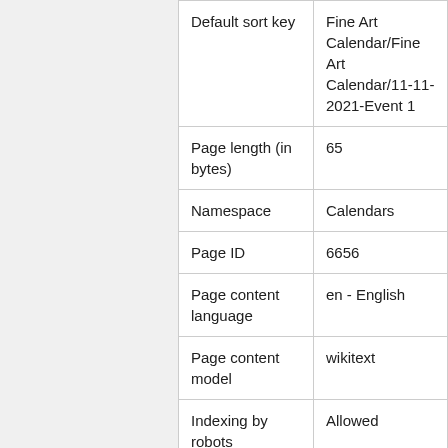| Property | Value |
| --- | --- |
| Default sort key | Fine Art Calendar/Fine Art Calendar/11-11-2021-Event 1 |
| Page length (in bytes) | 65 |
| Namespace | Calendars |
| Page ID | 6656 |
| Page content language | en - English |
| Page content model | wikitext |
| Indexing by robots | Allowed |
| Number of redirects to this page | 0 |
| Number of |  |